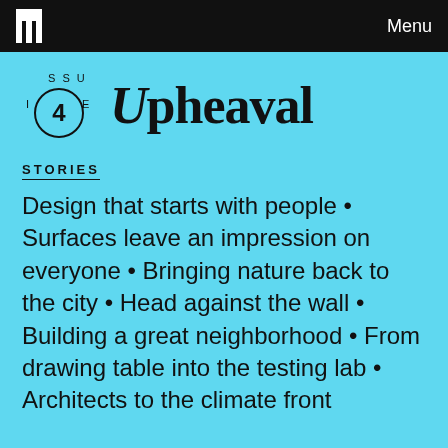Menu
Issue 4 — Upheaval
STORIES
Design that starts with people • Surfaces leave an impression on everyone • Bringing nature back to the city • Head against the wall • Building a great neighborhood • From drawing table into the testing lab • Architects to the climate front